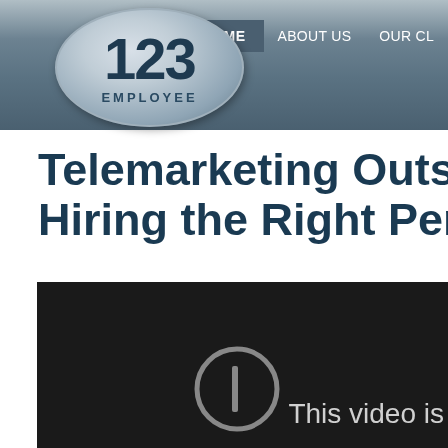123 EMPLOYEE | HOME | ABOUT US | OUR CL
Telemarketing Outsour- Hiring the Right Person
[Figure (screenshot): Dark video player area with a circular play/pause icon and partial text 'This video is']